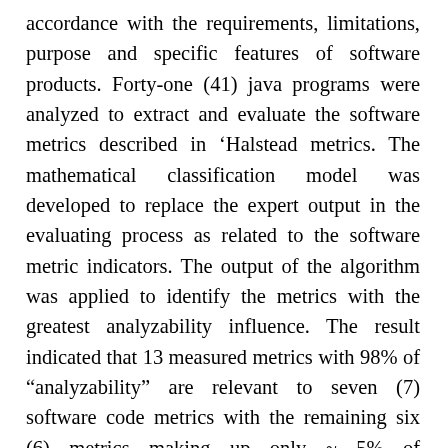accordance with the requirements, limitations, purpose and specific features of software products. Forty-one (41) java programs were analyzed to extract and evaluate the software metrics described in 'Halstead metrics. The mathematical classification model was developed to replace the expert output in the evaluating process as related to the software metric indicators. The output of the algorithm was applied to identify the metrics with the greatest analyzability influence. The result indicated that 13 measured metrics with 98% of “analyzability” are relevant to seven (7) software code metrics with the remaining six (6) metrics making up only ~ 5% of “analyzability”. The analyzed ROC-curves were similarly computed to test the performance of the proposed methodology compared to the expert’s metric evaluation. The ROC-curves indicator for the proposed methodology showed resultant scores of ROC = 7.4 as compared to 7.3 from the experts’